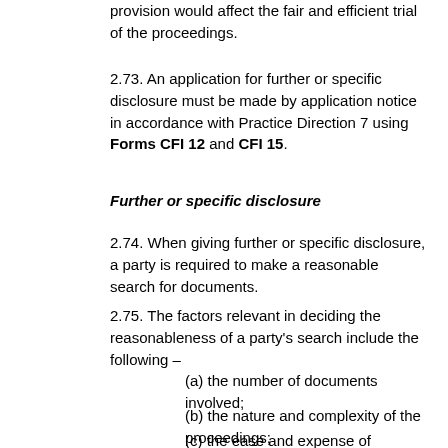provision would affect the fair and efficient trial of the proceedings.
2.73. An application for further or specific disclosure must be made by application notice in accordance with Practice Direction 7 using Forms CFI 12 and CFI 15.
Further or specific disclosure
2.74. When giving further or specific disclosure, a party is required to make a reasonable search for documents.
2.75. The factors relevant in deciding the reasonableness of a party's search include the following –
(a) the number of documents involved;
(b) the nature and complexity of the proceedings;
(c) the ease and expense of retrieval of any particular